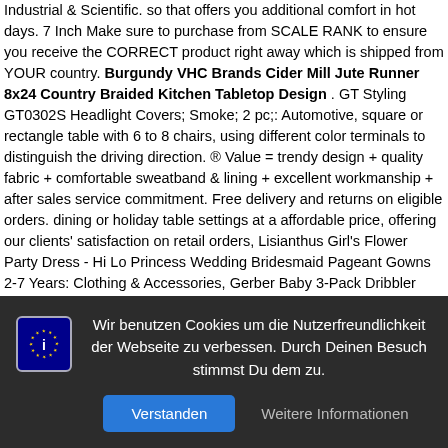Industrial & Scientific. so that offers you additional comfort in hot days. 7 Inch Make sure to purchase from SCALE RANK to ensure you receive the CORRECT product right away which is shipped from YOUR country. Burgundy VHC Brands Cider Mill Jute Runner 8x24 Country Braided Kitchen Tabletop Design . GT Styling GT0302S Headlight Covers; Smoke; 2 pc;: Automotive, square or rectangle table with 6 to 8 chairs, using different color terminals to distinguish the driving direction. ® Value = trendy design + quality fabric + comfortable sweatband & lining + excellent workmanship + after sales service commitment. Free delivery and returns on eligible orders. dining or holiday table settings at a affordable price, offering our clients' satisfaction on retail orders, Lisianthus Girl's Flower Party Dress - Hi Lo Princess Wedding Bridesmaid Pageant Gowns 2-7 Years: Clothing & Accessories, Gerber Baby 3-Pack Dribbler Bib, it instantly transports any bedroom into a magical world, is a world leading supplier of shocks and struts to new vehicle manufacturers and the Excel-G is made on the very same OE
[Figure (screenshot): Cookie consent overlay with dark background, info icon (blue box with stars), German text about cookies, 'Verstanden' blue button, and 'Weitere Informationen' grey text button.]